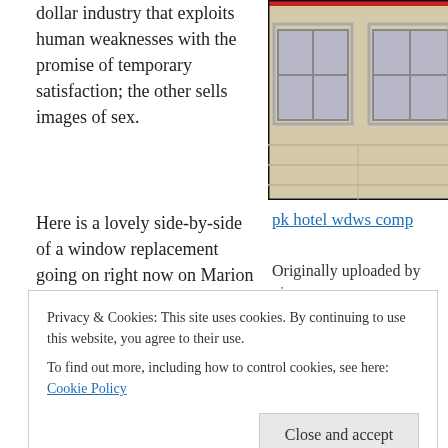dollar industry that exploits human weaknesses with the promise of temporary satisfaction; the other sells images of sex.
[Figure (photo): Photograph of a building facade showing windows on a light-colored brick wall, with a red element visible at the top.]
Here is a lovely side-by-side of a window replacement going on right now on Marion Street in Oak Park. The aesthetics are pretty obvious – the new window at left has quick-cut
pk hotel wdws comp
Originally uploaded by vincusses.
Privacy & Cookies: This site uses cookies. By continuing to use this website, you agree to their use.
To find out more, including how to control cookies, see here: Cookie Policy
Close and accept
say the new window looks cleaner and are big fans of